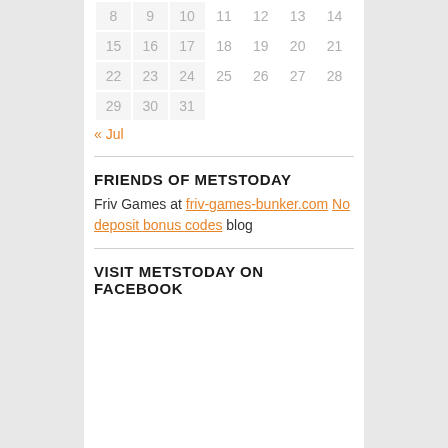| 8 | 9 | 10 | 11 | 12 | 13 | 14 |
| 15 | 16 | 17 | 18 | 19 | 20 | 21 |
| 22 | 23 | 24 | 25 | 26 | 27 | 28 |
| 29 | 30 | 31 |  |  |  |  |
« Jul
FRIENDS OF METSTODAY
Friv Games at friv-games-bunker.com No deposit bonus codes blog
VISIT METSTODAY ON FACEBOOK